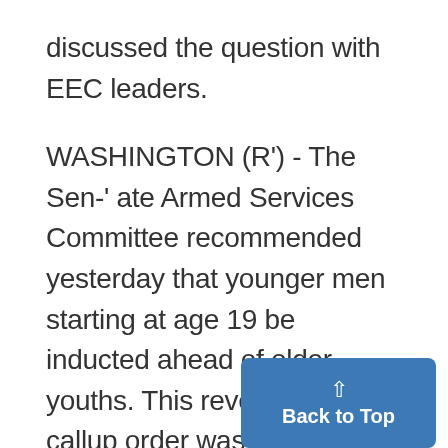discussed the question with EEC leaders.
WASHINGTON (R') - The Senate Armed Services Committee recommended yesterday that younger men starting at age 19 be inducted ahead of older youths. This reversal of the callup order was proposed by President Johnson in a message to Congress on revisions of the Selective Service system. In backing the proposal, Chair-